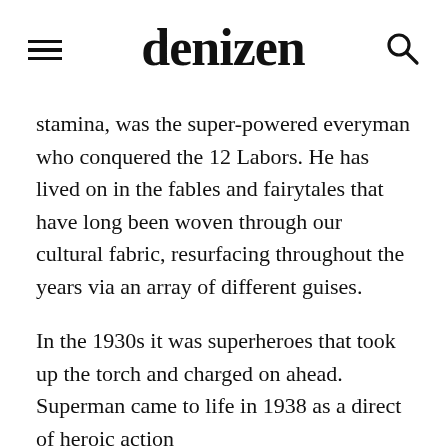denizen
stamina, was the super-powered everyman who conquered the 12 Labors. He has lived on in the fables and fairytales that have long been woven through our cultural fabric, resurfacing throughout the years via an array of different guises.
In the 1930s it was superheroes that took up the torch and charged on ahead. Superman came to life in 1938 as a direct of heroic action...